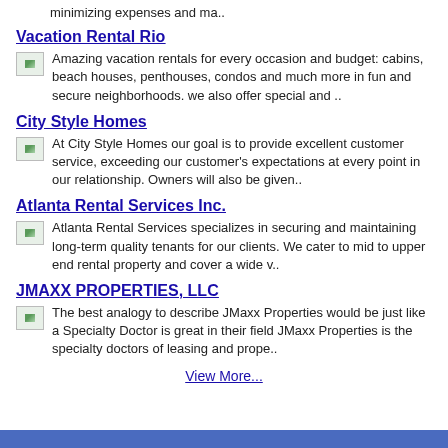minimizing expenses and ma..
Vacation Rental Rio
Amazing vacation rentals for every occasion and budget: cabins, beach houses, penthouses, condos and much more in fun and secure neighborhoods. we also offer special and ..
City Style Homes
At City Style Homes our goal is to provide excellent customer service, exceeding our customer's expectations at every point in our relationship. Owners will also be given..
Atlanta Rental Services Inc.
Atlanta Rental Services specializes in securing and maintaining long-term quality tenants for our clients. We cater to mid to upper end rental property and cover a wide v..
JMAXX PROPERTIES, LLC
The best analogy to describe JMaxx Properties would be just like a Specialty Doctor is great in their field JMaxx Properties is the specialty doctors of leasing and prope..
View More...